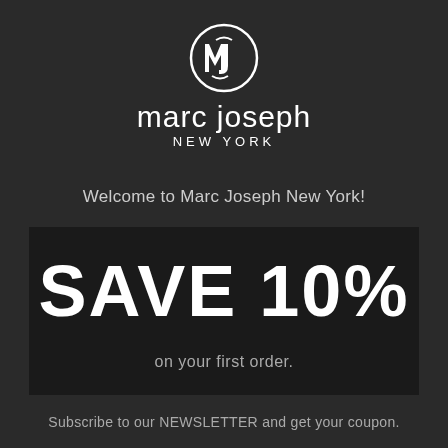[Figure (logo): Marc Joseph New York circular logo with stylized MJ monogram in a circle, white on dark background, with brand name 'marc joseph' and 'NEW YORK' text below]
Welcome to Marc Joseph New York!
SAVE 10%
on your first order.
Subscribe to our NEWSLETTER and get your coupon.